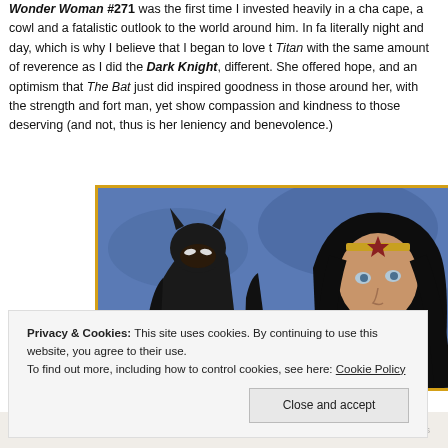Wonder Woman #271 was the first time I invested heavily in a character who wore a cape, a cowl and a fatalistic outlook to the world around him. In fact, they were literally night and day, which is why I believe that I began to love the Amazon Titan with the same amount of reverence as I did the Dark Knight, she was different. She offered hope, and an optimism that The Bat just didn't. She inspired goodness in those around her, with the strength and fortitude to fight any man, yet show compassion and kindness to those deserving (and those who are not, thus is her leniency and benevolence.)
[Figure (illustration): Animated-style image showing Batman (in black cowl and cape) on the left and Wonder Woman (with gold tiara and dark hair) on the right against a blue background.]
Privacy & Cookies: This site uses cookies. By continuing to use this website, you agree to their use. To find out more, including how to control cookies, see here: Cookie Policy